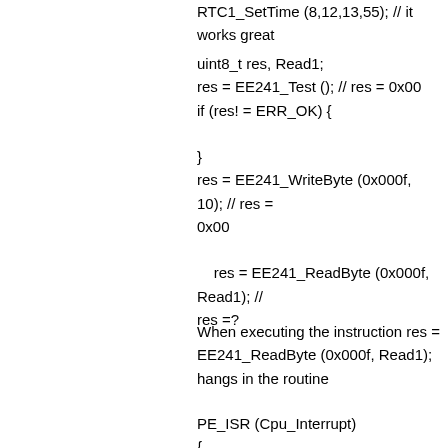RTC1_SetTime (8,12,13,55); // it works great
uint8_t res, Read1;
res = EE241_Test (); // res = 0x00
if (res! = ERR_OK) {

}
res = EE241_WriteByte (0x000f, 10); // res = 0x00

res = EE241_ReadByte (0x000f, Read1); // res =?
When executing the instruction res = EE241_ReadByte (0x000f, Read1); hangs in the routine
PE_ISR (Cpu_Interrupt)
{